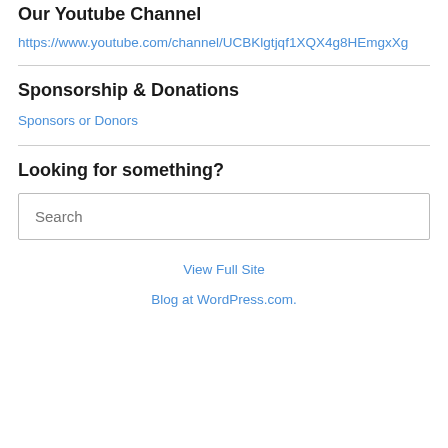Our Youtube Channel
https://www.youtube.com/channel/UCBKlgtjqf1XQX4g8HEmgxXg
Sponsorship & Donations
Sponsors or Donors
Looking for something?
Search
View Full Site
Blog at WordPress.com.